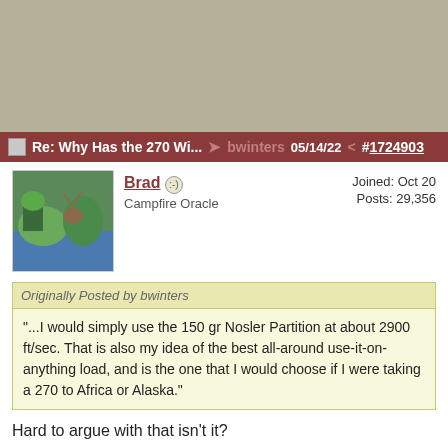Re: Why Has the 270 Wi... → bwinters 05/14/22 < #1724903
Brad — Campfire Oracle | Joined: Oct 20 | Posts: 29,356
Originally Posted by bwinters
"...I would simply use the 150 gr Nosler Partition at about 2900 ft/sec. That is also my idea of the best all-around use-it-on-anything load, and is the one that I would choose if I were taking a 270 to Africa or Alaska."
Hard to argue with that isn't it?
Re: Why Has the 270 Winch... → CRS 05/14/22 < #1724915
Garandimal — Campfire Regular | Joined: Dec 20 | Posts: 936